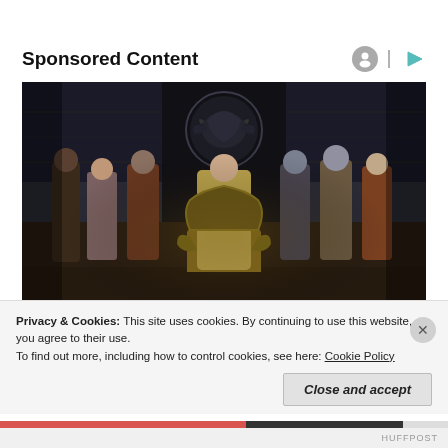Sponsored Content
[Figure (photo): A group of medieval fantasy characters in costume standing in a grand hall with a dragon sigil banner behind them. A central figure sits on an ornate throne. Scene appears to be from a fantasy TV series (House of the Dragon / Game of Thrones era).]
Privacy & Cookies: This site uses cookies. By continuing to use this website, you agree to their use.
To find out more, including how to control cookies, see here: Cookie Policy
Close and accept
HUFFPOST